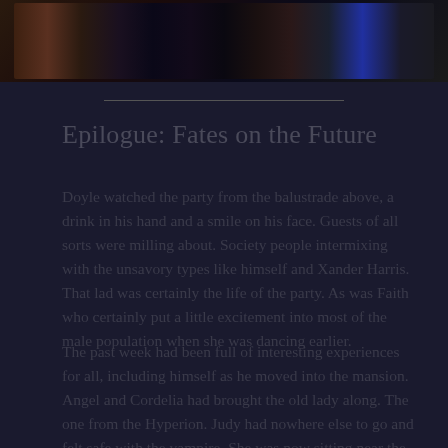[Figure (photo): A dark banner photograph showing multiple people at a party or gathering scene, with muted tones of brown, red, and blue.]
Epilogue: Fates on the Future
Doyle watched the party from the balustrade above, a drink in his hand and a smile on his face. Guests of all sorts were milling about. Society people intermixing with the unsavory types like himself and Xander Harris. That lad was certainly the life of the party. As was Faith who certainly put a little excitement into most of the male population when she was dancing earlier.
The past week had been full of interesting experiences for all, including himself as he moved into the mansion. Angel and Cordelia had brought the old lady along. The one from the Hyperion. Judy had nowhere else to go and felt safe with the vampire. She was now sitting near the fireplace which was roaring with a bright blaze despite the fact that